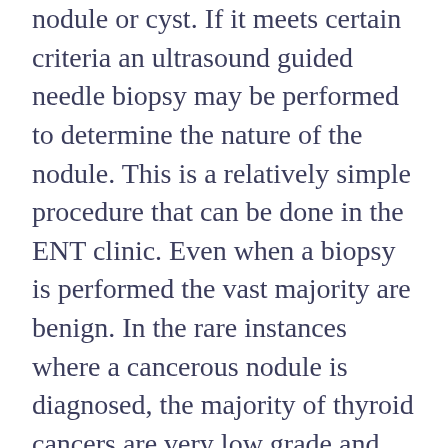nodule or cyst. If it meets certain criteria an ultrasound guided needle biopsy may be performed to determine the nature of the nodule. This is a relatively simple procedure that can be done in the ENT clinic. Even when a biopsy is performed the vast majority are benign. In the rare instances where a cancerous nodule is diagnosed, the majority of thyroid cancers are very low grade and can be treated with an outpatient surgery to remove the thyroid. The treatment of these cancers does not require radiation or chemotherapy.
In summary, there are a number of diseases that can occur within the thyroid. If you suspect a thyroid disorder, discuss this with